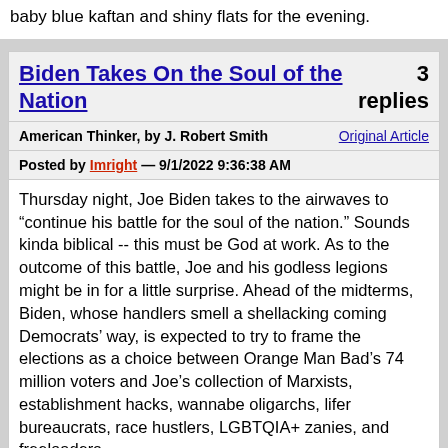baby blue kaftan and shiny flats for the evening.
Biden Takes On the Soul of the Nation
3 replies
American Thinker, by J. Robert Smith
Original Article
Posted by Imright — 9/1/2022 9:36:38 AM
Thursday night, Joe Biden takes to the airwaves to "continue his battle for the soul of the nation." Sounds kinda biblical -- this must be God at work. As to the outcome of this battle, Joe and his godless legions might be in for a little surprise. Ahead of the midterms, Biden, whose handlers smell a shellacking coming Democrats' way, is expected to try to frame the elections as a choice between Orange Man Bad's 74 million voters and Joe's collection of Marxists, establishment hacks, wannabe oligarchs, lifer bureaucrats, race hustlers, LGBTQIA+ zanies, and freeloaders.